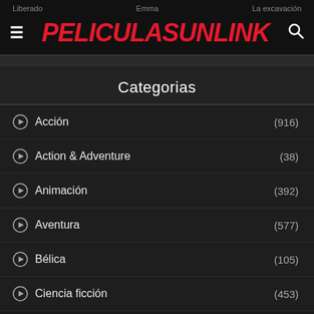Liberado   Emma   La excavación
PELICULASUNLINK
Categorias
Acción (916)
Action & Adventure (38)
Animación (392)
Aventura (577)
Bélica (105)
Ciencia ficción (453)